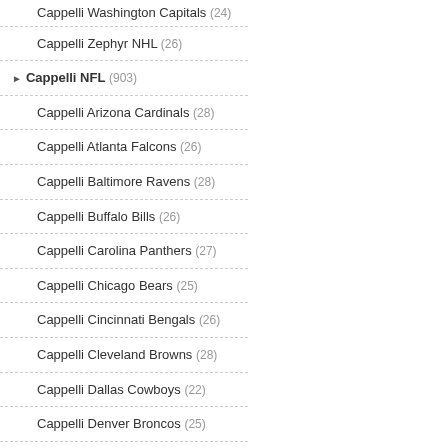Cappelli Washington Capitals (24)
Cappelli Zephyr NHL (26)
Cappelli NFL (903)
Cappelli Arizona Cardinals (28)
Cappelli Atlanta Falcons (26)
Cappelli Baltimore Ravens (28)
Cappelli Buffalo Bills (26)
Cappelli Carolina Panthers (27)
Cappelli Chicago Bears (25)
Cappelli Cincinnati Bengals (26)
Cappelli Cleveland Browns (28)
Cappelli Dallas Cowboys (22)
Cappelli Denver Broncos (25)
Cappelli Detroit Lions (27)
Cappelli Green Bay Packers (25)
Cappelli Houston Oilers (27)